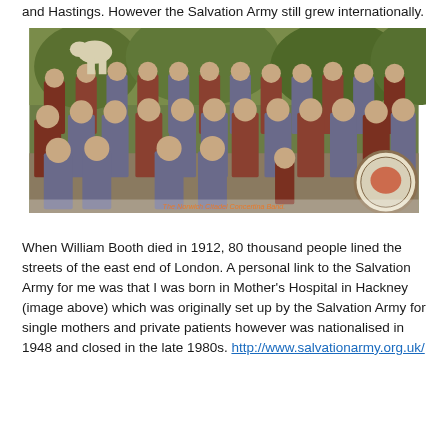and Hastings. However the Salvation Army still grew internationally.
[Figure (photo): A colorized historical group photograph of The Norwich Citadel Concertina Band, showing men, women, and a child in Salvation Army uniforms, posed outdoors with trees in the background. A bass drum is visible on the right side. Caption reads: 'The Norwich Citadel Concertina Band.']
The Norwich Citadel Concertina Band.
When William Booth died in 1912, 80 thousand people lined the streets of the east end of London. A personal link to the Salvation Army for me was that I was born in Mother's Hospital in Hackney (image above) which was originally set up by the Salvation Army for single mothers and private patients however was nationalised in 1948 and closed in the late 1980s. http://www.salvationarmy.org.uk/